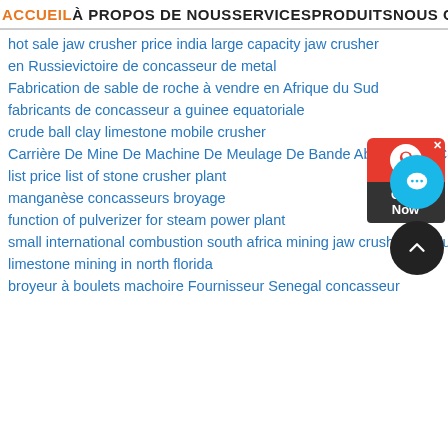ACCUEIL À PROPOS DE NOUS SERVICES PRODUITS NOUS CONTACTER
hot sale jaw crusher price india large capacity jaw crusher
en Russievictoire de concasseur de metal
Fabrication de sable de roche à vendre en Afrique du Sud
fabricants de concasseur a guinee equatoriale
crude ball clay limestone mobile crusher
Carrière De Mine De Machine De Meulage De Bande Abrasive De Convoyeur
list price list of stone crusher plant
manganèse concasseurs broyage
function of pulverizer for steam power plant
small international combustion south africa mining jaw crusher revolutions
limestone mining in north florida
broyeur à boulets machoire Fournisseur Senegal concasseur